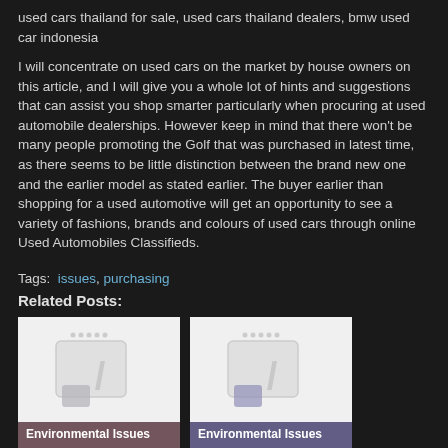used cars thailand for sale, used cars thailand dealers, bmw used car indonesia
I will concentrate on used cars on the market by house owners on this article, and I will give you a whole lot of hints and suggestions that can assist you shop smarter particularly when procuring at used automobile dealerships. However keep in mind that there won't be many people promoting the Golf that was purchased in latest time, as there seems to be little distinction between the brand new one and the earlier model as stated earlier. The buyer earlier than shopping for a used automotive will get an opportunity to see a variety of fashions, brands and colours of used cars through online Used Automobiles Classifieds.
Tags:  issues, purchasing
Related Posts:
[Figure (illustration): Thumbnail image placeholder with document icon, labeled Environmental Issues, reddish-brown background]
[Figure (illustration): Thumbnail image placeholder with document icon, labeled Environmental Issues, blue-purple background]